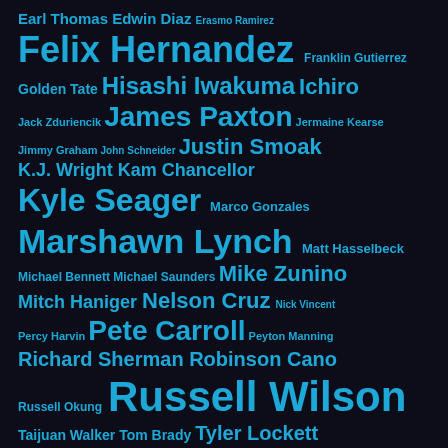[Figure (infographic): Word cloud of names associated with Seattle sports teams and players. Names are displayed in varying font sizes in cyan/blue on a dark background, with larger font size indicating greater prominence or frequency. Names include: Earl Thomas, Edwin Diaz, Erasmo Ramirez, Felix Hernandez, Franklin Gutierrez, Golden Tate, Hisashi Iwakuma, Ichiro, Jack Zduriencik, James Paxton, Jermaine Kearse, Jimmy Graham, John Schneider, Justin Smoak, K.J. Wright, Kam Chancellor, Kyle Seager, Marco Gonzales, Marshawn Lynch, Matt Hasselbeck, Michael Bennett, Michael Saunders, Mike Zunino, Mitch Haniger, Nelson Cruz, Nick Vincent, Percy Harvin, Pete Carroll, Peyton Manning, Richard Sherman, Robinson Cano, Russell Okung, Russell Wilson, Taijuan Walker, Tom Brady, Tyler Lockett.]